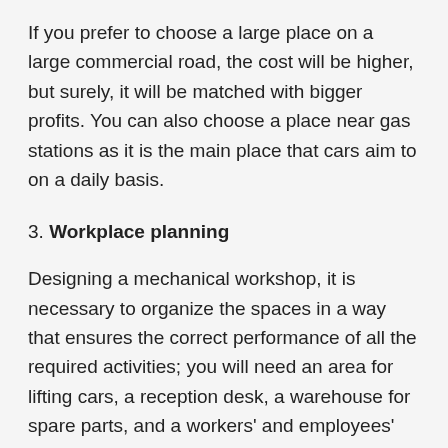If you prefer to choose a large place on a large commercial road, the cost will be higher, but surely, it will be matched with bigger profits. You can also choose a place near gas stations as it is the main place that cars aim to on a daily basis.
3. Workplace planning
Designing a mechanical workshop, it is necessary to organize the spaces in a way that ensures the correct performance of all the required activities; you will need an area for lifting cars, a reception desk, a warehouse for spare parts, and a workers' and employees' area which may include (a bathroom and a changing room).
4. Setting goals and priorities